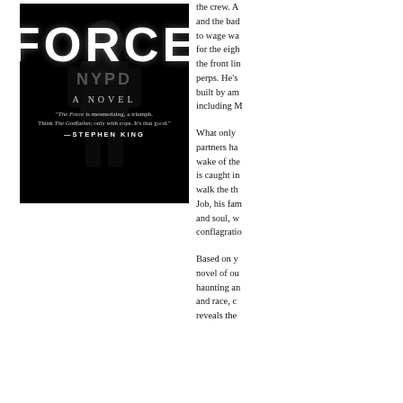[Figure (illustration): Book cover of 'The Force: A Novel' shown in black and white. Large bold text 'FORCE' dominates the cover with a dark stylized figure in the background. Below that reads 'A NOVEL' and a quote from Stephen King: '"The Force is mesmerizing, a triumph. Think The Godfather, only with cops. It's that good." —STEPHEN KING']
the crew. A and the bad to wage wa for the eigh the front li perps. He's built by am including M
What only partners ha wake of the is caught in walk the th Job, his fam and soul, w conflagratio
Based on y novel of ou haunting an and race, c reveals the